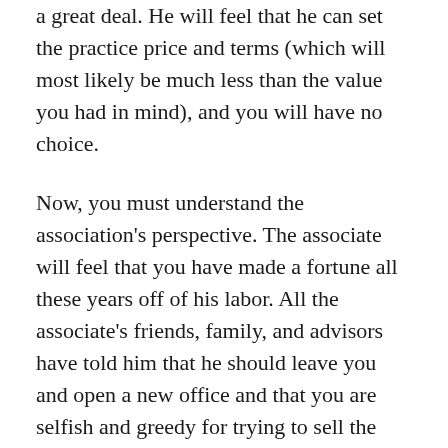a great deal. He will feel that he can set the practice price and terms (which will most likely be much less than the value you had in mind), and you will have no choice.
Now, you must understand the association's perspective. The associate will feel that you have made a fortune all these years off of his labor. All the associate's friends, family, and advisors have told him that he should leave you and open a new office and that you are selfish and greedy for trying to sell the practice instead of just turning the practice over to him.
Okay, so it was not a problem as long as you did not have to address buying the practice. As soon as you did, it became a problem. Remember, it's not an issue until it becomes a problem, and now you have a real problem. It's time to call AFTCO!